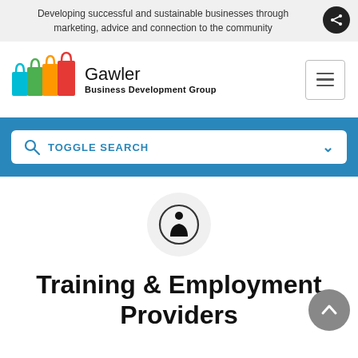Developing successful and sustainable businesses through marketing, advice and connection to the community
[Figure (logo): Gawler Business Development Group logo with colorful shopping bags and text]
[Figure (other): Toggle search bar with magnifying glass icon and chevron]
[Figure (other): Circular icon with person/figure silhouette inside]
Training & Employment Providers